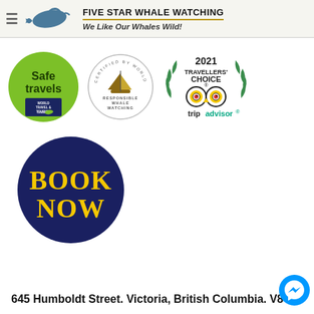FIVE STAR WHALE WATCHING — We Like Our Whales Wild!
[Figure (logo): Safe Travels green circle badge with World Travel & Tourism Council logo]
[Figure (logo): Certified by World Cetacean Alliance — Responsible Whale Watching circular badge with sailboat]
[Figure (logo): TripAdvisor 2021 Travellers' Choice award badge with owl and laurel wreath]
[Figure (logo): Book Now dark navy blue circle button with yellow text]
645 Humboldt Street. Victoria, British Columbia. V8...